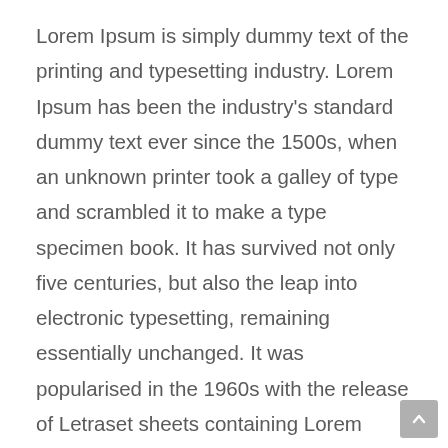Lorem Ipsum is simply dummy text of the printing and typesetting industry. Lorem Ipsum has been the industry's standard dummy text ever since the 1500s, when an unknown printer took a galley of type and scrambled it to make a type specimen book. It has survived not only five centuries, but also the leap into electronic typesetting, remaining essentially unchanged. It was popularised in the 1960s with the release of Letraset sheets containing Lorem Ipsum passages, and more recently with desktop publishing software like Aldus PageMaker including versions of Lorem Ipsum.
It is a long established fact that a reader will be distracted by the readable content of a page when looking at its layout. The point of using Lorem Ipsum is that it has a more-or-less normal distribution of letters, as opposed to using 'Content here, content here', making it look like readable English. Many desktop